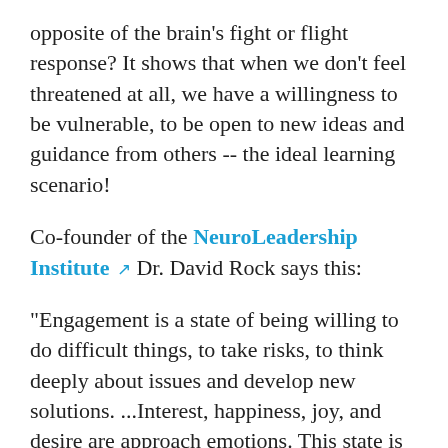opposite of the brain's fight or flight response? It shows that when we don't feel threatened at all, we have a willingness to be vulnerable, to be open to new ideas and guidance from others -- the ideal learning scenario!
Co-founder of the NeuroLeadership Institute [link icon] Dr. David Rock says this:
"Engagement is a state of being willing to do difficult things, to take risks, to think deeply about issues and develop new solutions. ...Interest, happiness, joy, and desire are approach emotions. This state is one of increased dopamine levels,